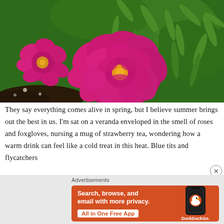[Figure (photo): Bright magenta/pink peony flowers with yellow centers blooming among dense green foliage]
They say everything comes alive in spring, but I believe summer brings out the best in us. I'm sat on a veranda enveloped in the smell of roses and foxgloves, nursing a mug of strawberry tea, wondering how a warm drink can feel like a cold treat in this heat. Blue tits and flycatchers
Advertisements
[Figure (infographic): DuckDuckGo advertisement banner with orange background. Text: Search, browse, and email with more privacy. All in One Free App. Shows a phone with DuckDuckGo logo.]